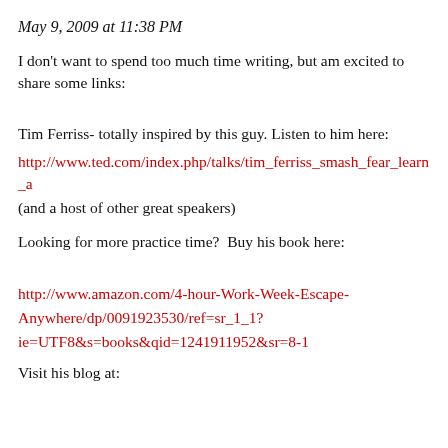May 9, 2009 at 11:38 PM
I don't want to spend too much time writing, but am excited to share some links:
Tim Ferriss- totally inspired by this guy. Listen to him here:
http://www.ted.com/index.php/talks/tim_ferriss_smash_fear_learn_a
(and a host of other great speakers)
Looking for more practice time?  Buy his book here:
http://www.amazon.com/4-hour-Work-Week-Escape-Anywhere/dp/0091923530/ref=sr_1_1?
ie=UTF8&s=books&qid=1241911952&sr=8-1
Visit his blog at: